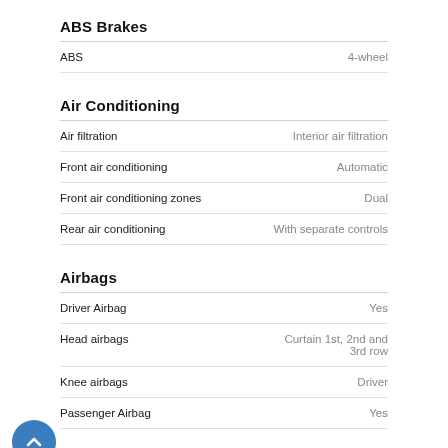ABS Brakes
| Feature | Value |
| --- | --- |
| ABS | 4-wheel |
Air Conditioning
| Feature | Value |
| --- | --- |
| Air filtration | Interior air filtration |
| Front air conditioning | Automatic |
| Front air conditioning zones | Dual |
| Rear air conditioning | With separate controls |
Airbags
| Feature | Value |
| --- | --- |
| Driver Airbag | Yes |
| Head airbags | Curtain 1st, 2nd and 3rd row |
| Knee airbags | Driver |
| Passenger Airbag | Yes |
Audio System
| Feature | Value |
| --- | --- |
| Antenna Type | Integrated roof |